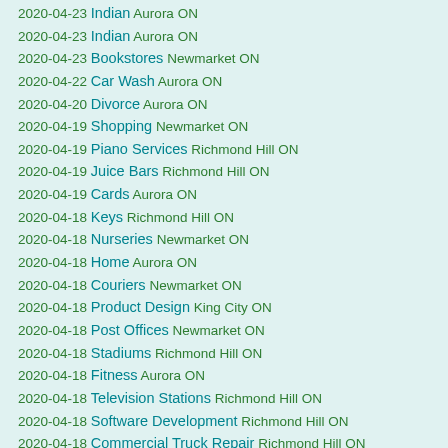2020-04-23 Indian Aurora ON
2020-04-23 Indian Aurora ON
2020-04-23 Bookstores Newmarket ON
2020-04-22 Car Wash Aurora ON
2020-04-20 Divorce Aurora ON
2020-04-19 Shopping Newmarket ON
2020-04-19 Piano Services Richmond Hill ON
2020-04-19 Juice Bars Richmond Hill ON
2020-04-19 Cards Aurora ON
2020-04-18 Keys Richmond Hill ON
2020-04-18 Nurseries Newmarket ON
2020-04-18 Home Aurora ON
2020-04-18 Couriers Newmarket ON
2020-04-18 Product Design King City ON
2020-04-18 Post Offices Newmarket ON
2020-04-18 Stadiums Richmond Hill ON
2020-04-18 Fitness Aurora ON
2020-04-18 Television Stations Richmond Hill ON
2020-04-18 Software Development Richmond Hill ON
2020-04-18 Commercial Truck Repair Richmond Hill ON
2020-04-18 Libraries Aurora ON
2020-04-18 Cremation Services Newmarket ON
2020-04-18 Hong Kong Style Cafe Newmarket ON